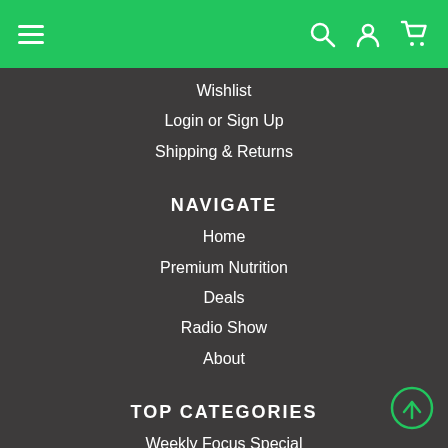Navigation bar with hamburger menu, search, account, and cart icons
Wishlist
Login or Sign Up
Shipping & Returns
NAVIGATE
Home
Premium Nutrition
Deals
Radio Show
About
TOP CATEGORIES
Weekly Focus Special
Deals
Premium Nutrition